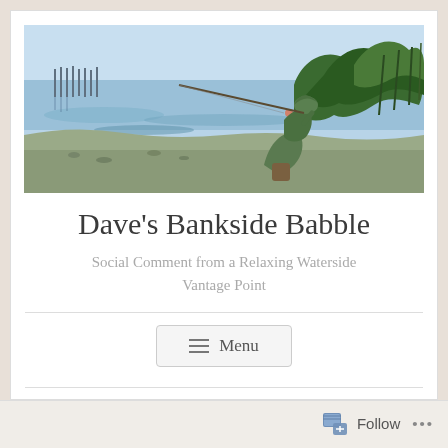[Figure (illustration): Watercolor painting of a fisherman sitting on a riverbank with a fishing rod, water with reflections and posts/pier in the background, rendered in blue and green tones.]
Dave's Bankside Babble
Social Comment from a Relaxing Waterside Vantage Point
[Figure (other): Menu button with three horizontal lines icon and the word Menu]
Follow ...